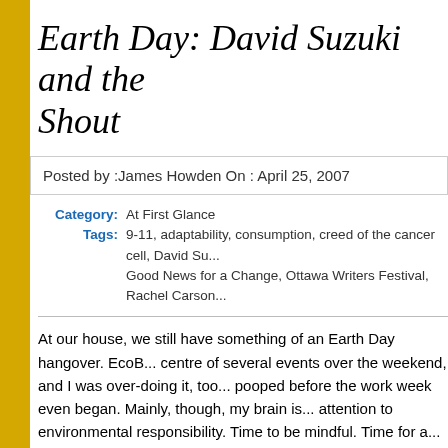Earth Day: David Suzuki and the Shout
Posted by :James Howden On : April 25, 2007
Category: At First Glance
Tags: 9-11, adaptability, consumption, creed of the cancer cell, David Su... Good News for a Change, Ottawa Writers Festival, Rachel Carson...
At our house, we still have something of an Earth Day hangover. EcoB... centre of several events over the weekend, and I was over-doing it, too... pooped before the work week even began. Mainly, though, my brain is... attention to environmental responsibility. Time to be mindful. Time for a...
Sheesh. I should have a T-shirt printed for myself: I DROVE MY CAR T... EVENTS. It wasn't all laziness and irresponsibility. Event the first, Satu... meditation/story-telling/dance session, and the EcoFair that followed it,... to be transported and was followed by another event across the city. I h... Event the second, David Suzuki's talk Sunday at the WritersFest. I was... really was! — after riding with Li'l Bozo to a schoolmate's birthday party... B bicycle, which left her A machine and my hunk o' crap to choose from...